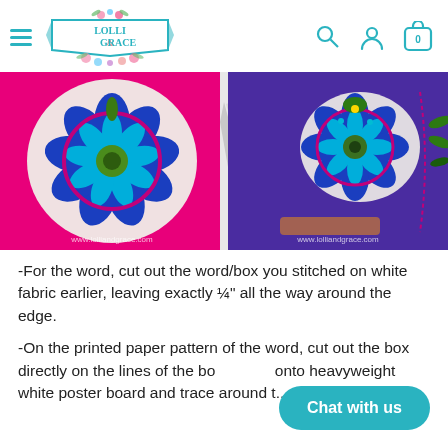Lolli & Grace — navigation bar with hamburger menu, logo, search, account, and cart (0)
[Figure (photo): Two side-by-side craft/embroidery photos on pink and purple backgrounds showing a blue floral embroidery piece being cut with scissors and pinned onto fabric in an embroidery hoop. Watermark: www.lolliandgrace.com]
-For the word, cut out the word/box you stitched on white fabric earlier, leaving exactly ¼" all the way around the edge.
-On the printed paper pattern of the word, cut out the box directly on the lines of the box. Place onto heavyweight white poster board and trace around t...